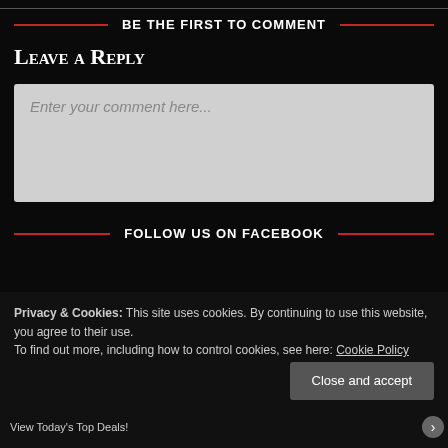BE THE FIRST TO COMMENT
Leave a Reply
Enter your comment here...
FOLLOW US ON FACEBOOK
Privacy & Cookies: This site uses cookies. By continuing to use this website, you agree to their use.
To find out more, including how to control cookies, see here: Cookie Policy
Close and accept
View Today's Top Deals!